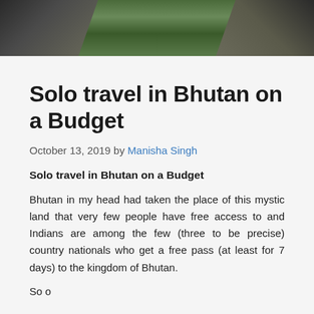[Figure (photo): Top portion of a photo showing rocky cliffs with green vegetation/forest]
Solo travel in Bhutan on a Budget
October 13, 2019 by Manisha Singh
Solo travel in Bhutan on a Budget
Bhutan in my head had taken the place of this mystic land that very few people have free access to and Indians are among the few (three to be precise) country nationals who get a free pass (at least for 7 days) to the kingdom of Bhutan.
So o...